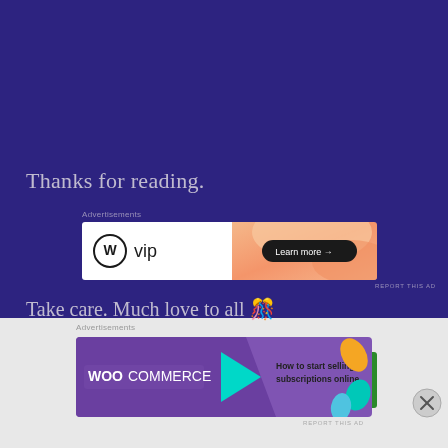Thanks for reading.
Advertisements
[Figure (other): WordPress VIP advertisement banner with gradient orange background, WP logo and 'vip' branding on left, black oval 'Learn more →' button on right]
REPORT THIS AD
Take care. Much love to all 🎉
Advertisements
[Figure (other): Jetpack advertisement banner with green background and circular light design]
[Figure (other): WooCommerce advertisement banner: purple/teal background with WooCommerce logo and teal arrow, text 'How to start selling subscriptions online', orange/teal leaf shapes on right]
Advertisements
REPORT THIS AD